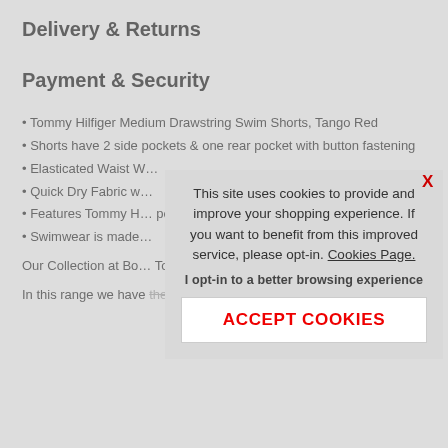Delivery & Returns
Payment & Security
Tommy Hilfiger Medium Drawstring Swim Shorts, Tango Red
Shorts have 2 side pockets & one rear pocket with button fastening
Elasticated Waist W…
Quick Dry Fabric w…
Features Tommy H… pocket
Swimwear is made…
Our Collection at Bo… Tommy Hilfiger Mens… range we have the T…
In this range we have the range Red Tommy Hilfiger Medium
This site uses cookies to provide and improve your shopping experience. If you want to benefit from this improved service, please opt-in. Cookies Page.
I opt-in to a better browsing experience
ACCEPT COOKIES